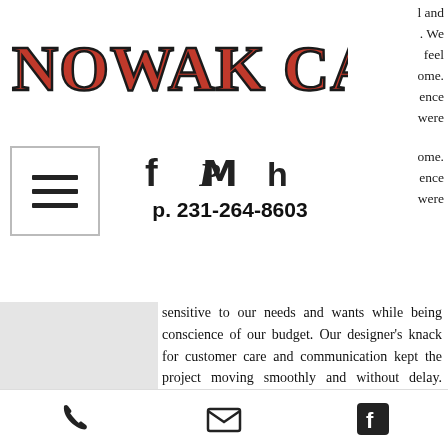[Figure (logo): Nowak Cabinets logo in bold red serif font with black outline]
l and
. We
feel
ome.
ence
were
[Figure (infographic): Hamburger menu icon (three horizontal lines in a square border)]
[Figure (infographic): Social media icons: Facebook, Pinterest, Houzz]
p. 231-264-8603
ome.
ence
were
sensitive to our needs and wants while being conscience of our budget. Our designer's knack for customer care and communication kept the project moving smoothly and without delay. Every aspect of working with Nowak Cabinets was enjoyable; from design and product selections, to installation by skillful and precise install team. The project was completed in a timely manner and now we have the welcoming, comfortable kitchen we dreamed of. It has become a gathering place for family and friends. Without
[Figure (infographic): Bottom navigation bar with phone, email, and Facebook icons]